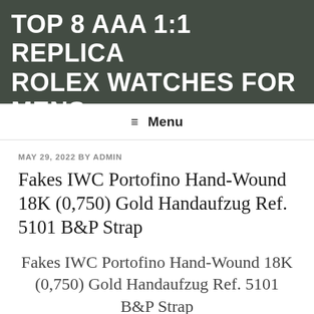TOP 8 AAA 1:1 REPLICA ROLEX WATCHES FOR MENS
≡ Menu
MAY 29, 2022 BY ADMIN
Fakes IWC Portofino Hand-Wound 18K (0,750) Gold Handaufzug Ref. 5101 B&P Strap
Fakes IWC Portofino Hand-Wound 18K (0,750) Gold Handaufzug Ref. 5101 B&P Strap